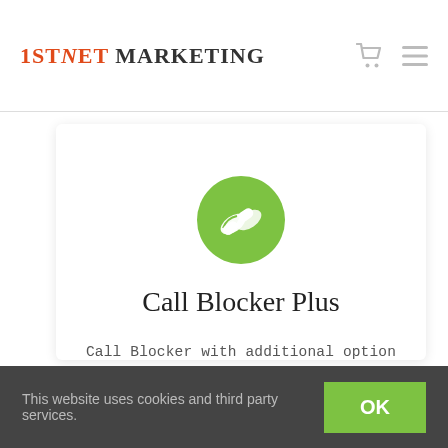1stNet Marketing
[Figure (logo): Green circle with white headphone/pill icon representing Call Blocker Plus app]
Call Blocker Plus
Call Blocker with additional option to allow you to avoid spam and unwanted calls as the caller is identified with call status. Such as “Spam”
This website uses cookies and third party services.